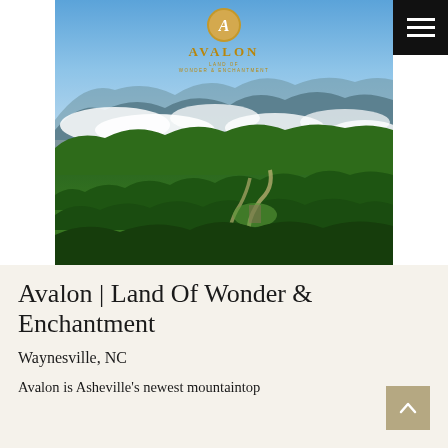[Figure (photo): Aerial photograph of mountainous forested landscape near Asheville/Waynesville NC, with green tree canopy, winding roads, mountain ridges, and clouds in the distance. Avalon logo (circular gold emblem with letter A, AVALON text, and tagline LAND OF WONDER & ENCHANTMENT) overlaid at top center of the image.]
Avalon | Land Of Wonder & Enchantment
Waynesville, NC
Avalon is Asheville's newest mountaintop